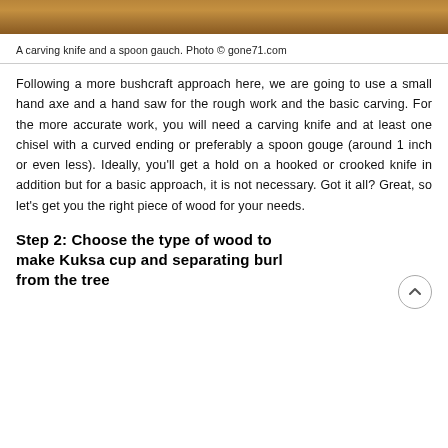[Figure (photo): Top portion of a photo showing a carving knife and a spoon gouge, warm brown tones.]
A carving knife and a spoon gauch. Photo © gone71.com
Following a more bushcraft approach here, we are going to use a small hand axe and a hand saw for the rough work and the basic carving. For the more accurate work, you will need a carving knife and at least one chisel with a curved ending or preferably a spoon gouge (around 1 inch or even less). Ideally, you'll get a hold on a hooked or crooked knife in addition but for a basic approach, it is not necessary. Got it all? Great, so let's get you the right piece of wood for your needs.
Step 2: Choose the type of wood to make Kuksa cup and separating burl from the tree